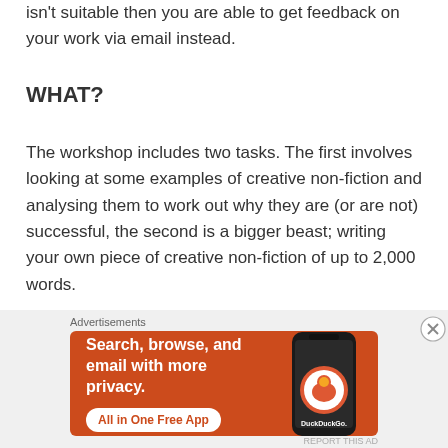isn't suitable then you are able to get feedback on your work via email instead.
WHAT?
The workshop includes two tasks. The first involves looking at some examples of creative non-fiction and analysing them to work out why they are (or are not) successful, the second is a bigger beast; writing your own piece of creative non-fiction of up to 2,000 words.
[Figure (other): DuckDuckGo advertisement banner with orange background showing 'Search, browse, and email with more privacy. All in One Free App' with a phone image and DuckDuckGo logo]